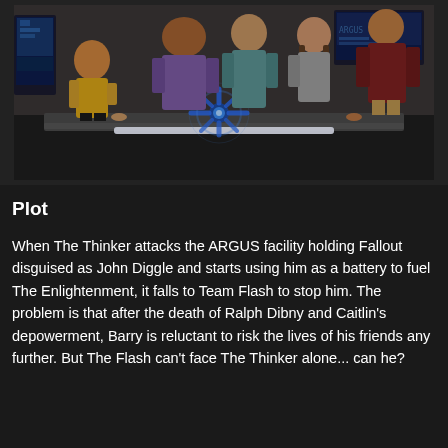[Figure (photo): A still from a TV show (The Flash) showing four characters gathered around a glowing blue star-shaped device on a table in what appears to be a high-tech facility. A woman in a yellow top is on the left, a large man in a purple shirt stands behind, a woman in a teal top is center, and a person in a dark red jacket is on the right. A TV monitor is visible in the background.]
Plot
When The Thinker attacks the ARGUS facility holding Fallout disguised as John Diggle and starts using him as a battery to fuel The Enlightenment, it falls to Team Flash to stop him. The problem is that after the death of Ralph Dibny and Caitlin's depowerment, Barry is reluctant to risk the lives of his friends any further. But The Flash can't face The Thinker alone... can he?